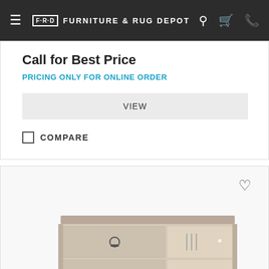FRD FURNITURE & RUG DEPOT
Call for Best Price
PRICING ONLY FOR ONLINE ORDER
VIEW
COMPARE
[Figure (photo): Light wood finish TV stand/media console with two drawers featuring ring pulls and open shelving compartments]
FILTER & SORT